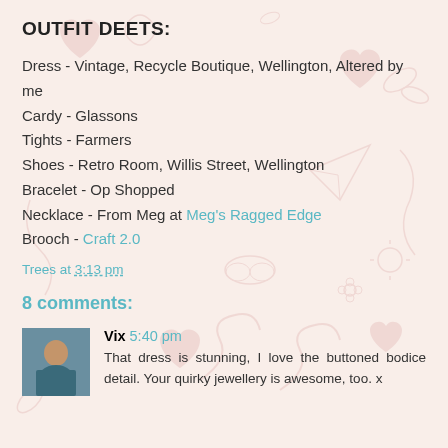OUTFIT DEETS:
Dress - Vintage, Recycle Boutique, Wellington, Altered by me
Cardy - Glassons
Tights - Farmers
Shoes - Retro Room, Willis Street, Wellington
Bracelet - Op Shopped
Necklace - From Meg at Meg's Ragged Edge
Brooch - Craft 2.0
Trees at 3:13 pm
8 comments:
Vix 5:40 pm
That dress is stunning, I love the buttoned bodice detail. Your quirky jewellery is awesome, too. x